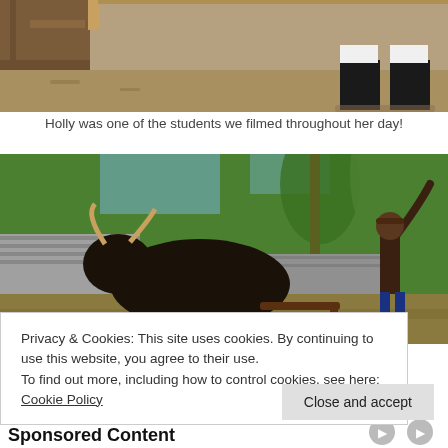[Figure (photo): Partial photo showing a student's feet in black shoes and white socks near a wooden structure on dirt ground.]
Holly was one of the students we filmed throughout her day!
[Figure (photo): Outdoor rural scene showing a dark bull or ox being led by a man with arm raised, surrounded by tropical trees and a stone wall structure.]
Privacy & Cookies: This site uses cookies. By continuing to use this website, you agree to their use.
To find out more, including how to control cookies, see here: Cookie Policy
Close and accept
Sponsored Content